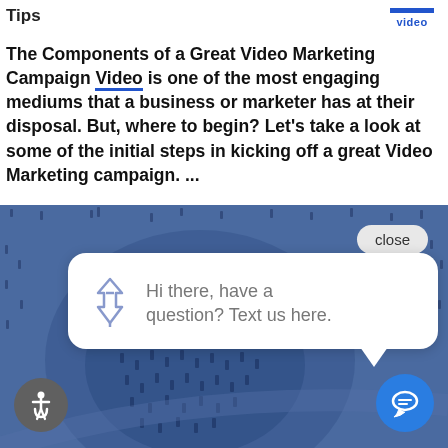Tips
The Components of a Great Video Marketing Campaign Video is one of the most engaging mediums that a business or marketer has at their disposal. But, where to begin? Let’s take a look at some of the initial steps in kicking off a great Video Marketing campaign. ...
[Figure (screenshot): Blue background with crowd of people aerial view. Chat widget popup reading 'Hi there, have a question? Text us here.' with a pin icon. A 'close' button in the top right. Accessibility icon (wheelchair) in bottom left. Blue chat bubble icon in bottom right.]